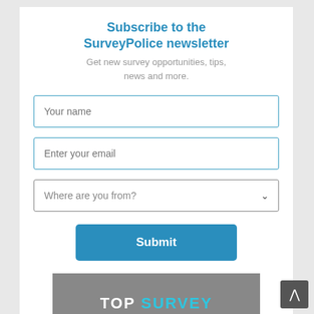Subscribe to the SurveyPolice newsletter
Get new survey opportunities, tips, news and more.
[Figure (screenshot): Newsletter subscription form with fields for Your name, Enter your email, Where are you from? dropdown, and a Submit button]
[Figure (screenshot): Partial image at bottom showing TOP SURVEY text with laptop in background]